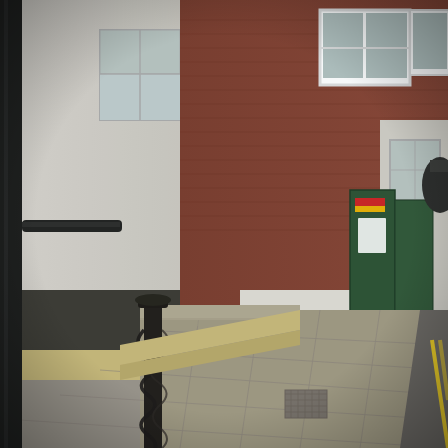[Figure (photo): Street-level photograph of a British town pavement (sidewalk). On the left edge is a thick black vertical lamp post. Behind it is a white-painted building facade with a sash window and a green door. Centre-left shows an ornate black wrought-iron horse-tethering post with chains wrapped around it, standing on a sandstone-coloured kerb step. The middle and right background show a red-brick Victorian building with white-framed windows and a green utility cabinet/junction box on the pavement near the building corner. The wide grey stone-paved footpath curves away to the right. The road edge with yellow no-parking lines is visible far right. Overcast daylight, muted colours.]